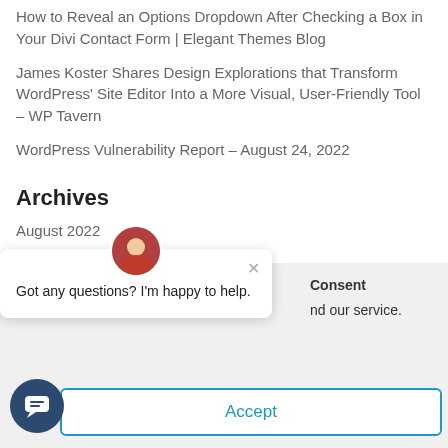How to Reveal an Options Dropdown After Checking a Box in Your Divi Contact Form | Elegant Themes Blog
James Koster Shares Design Explorations that Transform WordPress' Site Editor Into a More Visual, User-Friendly Tool – WP Tavern
WordPress Vulnerability Report – August 24, 2022
Archives
August 2022
July 2022
Consent
nd our service.
[Figure (other): Chat popup with avatar showing 'Got any questions? I'm happy to help.' with a close X button]
Accept
[Figure (other): Dark blue circular chat button with speech bubble icon]